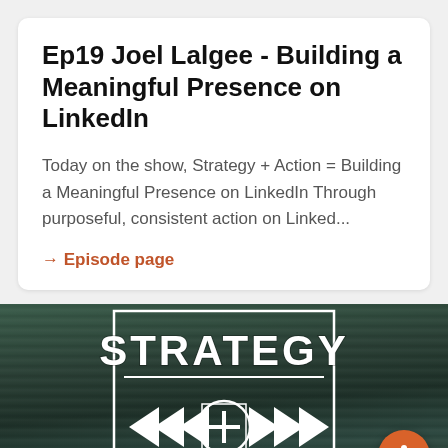Ep19 Joel Lalgee - Building a Meaningful Presence on LinkedIn
Today on the show, Strategy + Action = Building a Meaningful Presence on LinkedIn Through purposeful, consistent action on Linked...
→ Episode page
[Figure (illustration): Strategy + Action podcast logo on a dark wood-grain background. The text 'STRATEGY' appears at the top in large white distressed letters inside a white border box. Below are chevron arrows pointing left and right with a plus symbol in a circle in the center. A orange circular microphone button appears at the bottom right.]